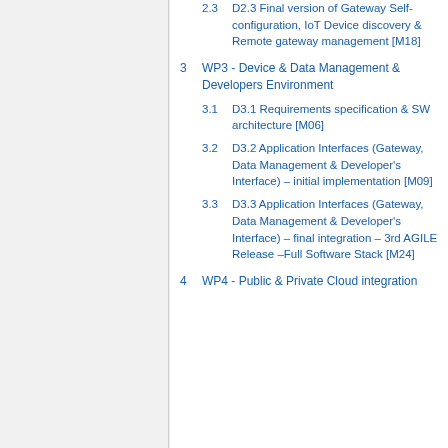2.3 D2.3 Final version of Gateway Self-configuration, IoT Device discovery & Remote gateway management [M18]
3 WP3 - Device & Data Management & Developers Environment
3.1 D3.1 Requirements specification & SW architecture [M06]
3.2 D3.2 Application Interfaces (Gateway, Data Management & Developer's Interface) – initial implementation [M09]
3.3 D3.3 Application Interfaces (Gateway, Data Management & Developer's Interface) – final integration – 3rd AGILE Release –Full Software Stack [M24]
4 WP4 - Public & Private Cloud integration